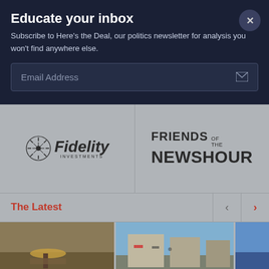Educate your inbox
Subscribe to Here's the Deal, our politics newsletter for analysis you won't find anywhere else.
Email Address
[Figure (logo): Fidelity Investments logo]
[Figure (logo): Friends of the NewsHour logo]
The Latest
[Figure (photo): Person wearing straw hat working in a field]
[Figure (photo): Street scene with buildings and signs, possibly Eastern European]
[Figure (photo): Partial blue image, cropped]